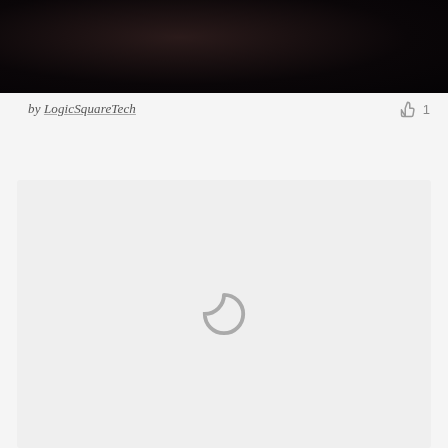[Figure (photo): Dark/black photo image at top of page, very dark background with faint reddish/brownish shapes barely visible]
by LogicSquareTech   👍 1
[Figure (screenshot): Light gray content loading area with a spinning loading indicator (circular arc) centered in the middle]